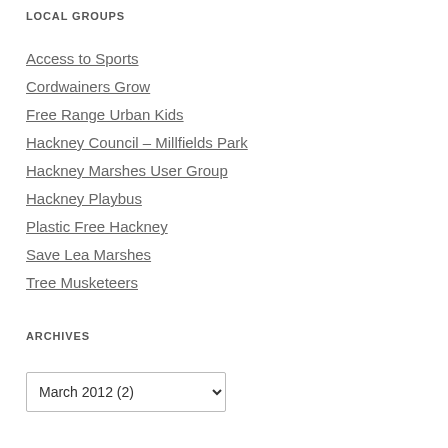LOCAL GROUPS
Access to Sports
Cordwainers Grow
Free Range Urban Kids
Hackney Council – Millfields Park
Hackney Marshes User Group
Hackney Playbus
Plastic Free Hackney
Save Lea Marshes
Tree Musketeers
ARCHIVES
March 2012  (2)